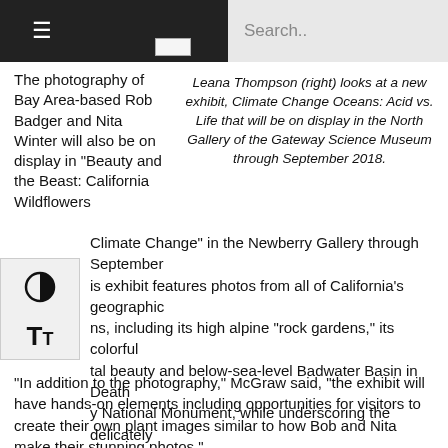≡   Search..
The photography of Bay Area-based Rob Badger and Nita Winter will also be on display in “Beauty and the Beast: California Wildflowers Climate Change” in the Newberry Gallery through September is exhibit features photos from all of California’s geographic ns, including its high alpine “rock gardens,” its colorful tal beauty and below-sea-level Badwater Basin in Death y National Monument, while underscoring the delicately balanced ecosystems of each.
Leana Thompson (right) looks at a new exhibit, Climate Change Oceans: Acid vs. Life that will be on display in the North Gallery of the Gateway Science Museum through September 2018.
“In addition to the photography,” McGraw said, “the exhibit will have hands-on elements including opportunities for visitors to create their own plant images similar to how Bob and Nita make their stunning photos.”
Additional exhibits inside the James W. Cornyn Valley Gallery are